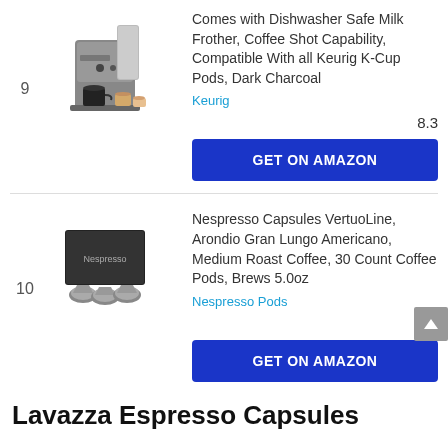9
Comes with Dishwasher Safe Milk Frother, Coffee Shot Capability, Compatible With all Keurig K-Cup Pods, Dark Charcoal
Keurig
8.3
GET ON AMAZON
10
Nespresso Capsules VertuoLine, Arondio Gran Lungo Americano, Medium Roast Coffee, 30 Count Coffee Pods, Brews 5.0oz
Nespresso Pods
8.1
GET ON AMAZON
Lavazza Espresso Capsules